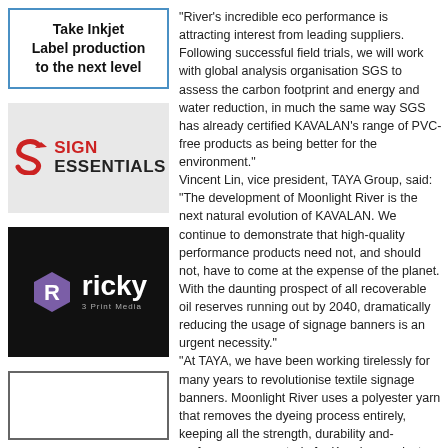[Figure (advertisement): Ad box: Take Inkjet Label production to the next level]
[Figure (logo): Sign Essentials logo on grey background]
[Figure (logo): Ricky 3 Print Media logo on black background with purple hexagon R icon]
[Figure (advertisement): Partial advertisement box at bottom left]
“River’s incredible eco performance is attracting interest from leading suppliers. Following successful field trials, we will work with global analysis organisation SGS to assess the carbon footprint and energy and water reduction, in much the same way SGS has already certified KAVALAN’s range of PVC-free products as being better for the environment.”
Vincent Lin, vice president, TAYA Group, said: “The development of Moonlight River is the next natural evolution of KAVALAN. We continue to demonstrate that high-quality performance products need not, and should not, have to come at the expense of the planet. With the daunting prospect of all recoverable oil reserves running out by 2040, dramatically reducing the usage of signage banners is an urgent necessity.”
“At TAYA, we have been working tirelessly for many years to revolutionise textile signage banners. Moonlight River uses a polyester yarn that removes the dyeing process entirely, keeping all the strength, durability and performance expected of a Kavalan product. Following years of innovation, perseverance and rigorous testing, we have created an outstanding and substantial sustainable solution we are excited to share with the world.”
Founded in Taiwan in 1972, TAYA is a leading global manufacturer of coated printing materials.
For the large format printing industry, TAYA offers its KAVALAN PVC-Free materials for indoor and outdoor applications.